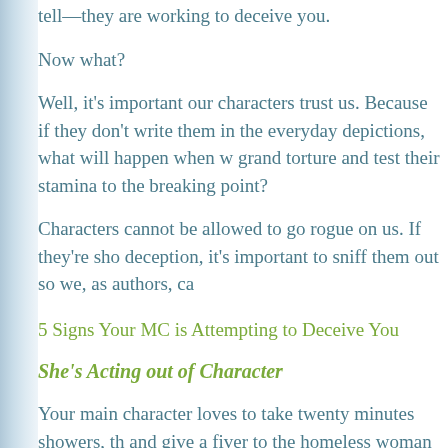tell—they are working to deceive you.
Now what?
Well, it's important our characters trust us. Because if they don't write them in the everyday depictions, what will happen when we grand torture and test their stamina to the breaking point?
Characters cannot be allowed to go rogue on us. If they're showing deception, it's important to sniff them out so we, as authors, ca...
5 Signs Your MC is Attempting to Deceive You
She's Acting out of Character
Your main character loves to take twenty minutes showers, the and give a fiver to the homeless woman on the corner. This has every day for five years.
Not today. Today he rolls out of bed and hits the pavement with doesn't skip a beat, walking right past the homeless woman.
Initially, this is kind of exciting. He's leading you somewhere, yo...